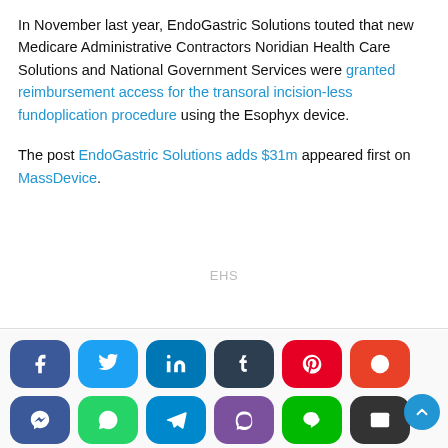In November last year, EndoGastric Solutions touted that new Medicare Administrative Contractors Noridian Health Care Solutions and National Government Services were granted reimbursement access for the transoral incision-less fundoplication procedure using the Esophyx device.
The post EndoGastric Solutions adds $31m appeared first on MassDevice.
EHS
[Figure (other): Social share buttons row 1: Facebook, Twitter, LinkedIn, Tumblr, Pinterest, Reddit. Row 2: Messenger, WhatsApp, Telegram, Viber, Line, Email. Plus a scroll-up button.]